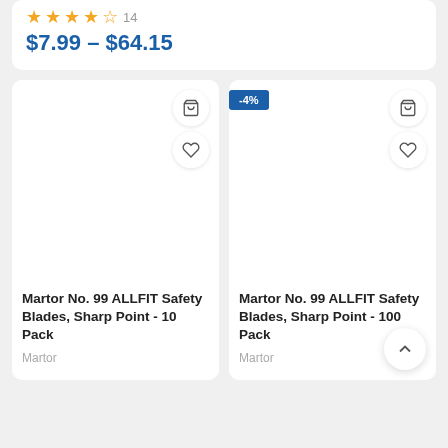$7.99 – $64.15
[Figure (screenshot): Product card for Martor No. 99 ALLFIT Safety Blades, Sharp Point - 10 Pack, with cart and wishlist icons]
Martor No. 99 ALLFIT Safety Blades, Sharp Point - 10 Pack
Martor
[Figure (screenshot): Product card for Martor No. 99 ALLFIT Safety Blades, Sharp Point - 100 Pack, with -4% discount badge, cart and wishlist icons]
Martor No. 99 ALLFIT Safety Blades, Sharp Point - 100 Pack
Martor